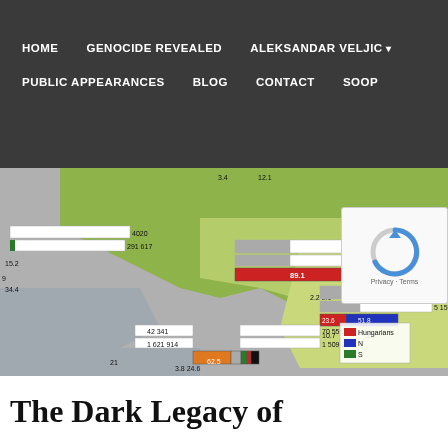HOME | GENOCIDE REVEALED | ALEKSANDAR VELJIC ▾ | PUBLIC APPEARANCES | BLOG | CONTACT | SOOP
[Figure (map): A map showing regions with stacked bar chart overlays indicating population statistics. Labels include numbers like 4020, 291 617, 15.2, 9, 34.4, 92 963, 7 615 111, 7.3, 2.2, 2.1, 89.1, 103 093, 5 157 467, 10.7, 3.9, 23.6, 51.8, 42 341, 1 621 914, 70 551, 1 509 295, 62.5, 3.8, 24.6, 21. Legend shows Hungarians (red), and two other groups (blue, green).]
The Dark Legacy of